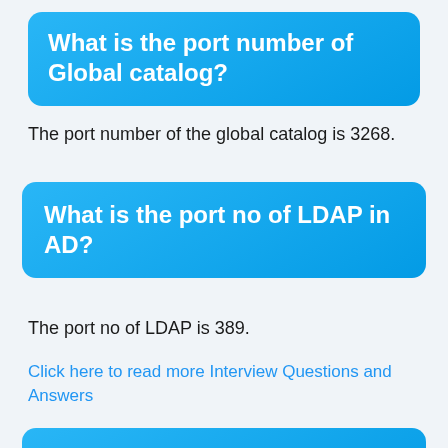What is the port number of Global catalog?
The port number of the global catalog is 3268.
What is the port no of LDAP in AD?
The port no of LDAP is 389.
Click here to read more Interview Questions and Answers
If I try to look schema, how can I do that?
List schmmgmt.dll using this command: